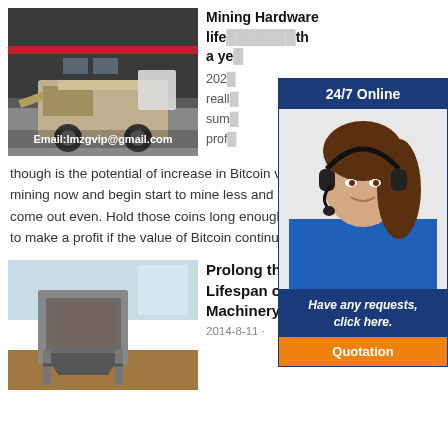[Figure (photo): Industrial mining equipment/machinery parked in front of a large dark industrial building with red accent stripe. Email address overlaid at bottom.]
Mining Hardware lifespan ... a ye...
2023... really... sum... prof...
though is the potential of increase in Bitcoin value... mining now and begin start to mine less and less,... come out even. Hold those coins long enough, an... to make a profit if the value of Bitcoin continues to...
[Figure (screenshot): 24/7 Online chat widget with a woman wearing a headset, with 'Have any requests, click here.' text and an orange Quotation button.]
[Figure (photo): Mining machinery - a large hopper or screening machine, rusty/industrial, outdoors.]
Prolong the Lifespan of Mining Machinery
2014-8-11 ·